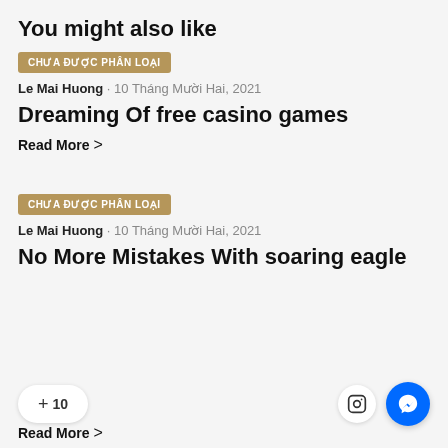You might also like
CHƯA ĐƯỢC PHÂN LOẠI
Le Mai Huong · 10 Tháng Mười Hai, 2021
Dreaming Of free casino games
Read More >
CHƯA ĐƯỢC PHÂN LOẠI
Le Mai Huong · 10 Tháng Mười Hai, 2021
No More Mistakes With soaring eagle
Read More >